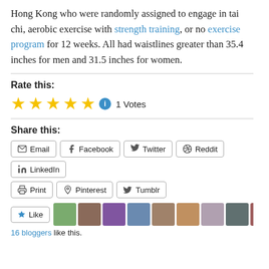Hong Kong who were randomly assigned to engage in tai chi, aerobic exercise with strength training, or no exercise program for 12 weeks. All had waistlines greater than 35.4 inches for men and 31.5 inches for women.
Rate this:
[Figure (other): Five gold stars rating with info icon and '1 Votes' label]
Share this:
[Figure (other): Social share buttons: Email, Facebook, Twitter, Reddit, LinkedIn, Print, Pinterest, Tumblr]
[Figure (other): Like button with 10 blogger avatars and '16 bloggers like this.' text]